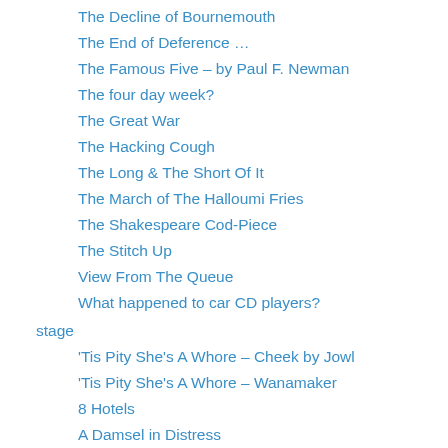The Decline of Bournemouth
The End of Deference …
The Famous Five – by Paul F. Newman
The four day week?
The Great War
The Hacking Cough
The Long & The Short Of It
The March of The Halloumi Fries
The Shakespeare Cod-Piece
The Stitch Up
View From The Queue
What happened to car CD players?
stage
'Tis Pity She's A Whore – Cheek by Jowl
'Tis Pity She's A Whore – Wanamaker
8 Hotels
A Damsel in Distress
A Little Hotel On The Side
A Mad World My Masters
A Midsummer Night's Dream – BBC TV 2016